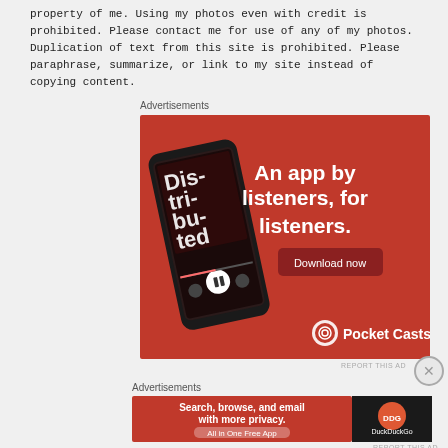property of me. Using my photos even with credit is prohibited. Please contact me for use of any of my photos. Duplication of text from this site is prohibited. Please paraphrase, summarize, or link to my site instead of copying content.
Advertisements
[Figure (illustration): Pocket Casts advertisement: red background with a smartphone displaying the 'Distributed' podcast app. Text reads 'An app by listeners, for listeners.' with a 'Download now' button and Pocket Casts logo.]
REPORT THIS AD
Advertisements
[Figure (illustration): DuckDuckGo advertisement: red background with text 'Search, browse, and email with more privacy. All in One Free App' and DuckDuckGo logo on dark background.]
REPORT THIS AD